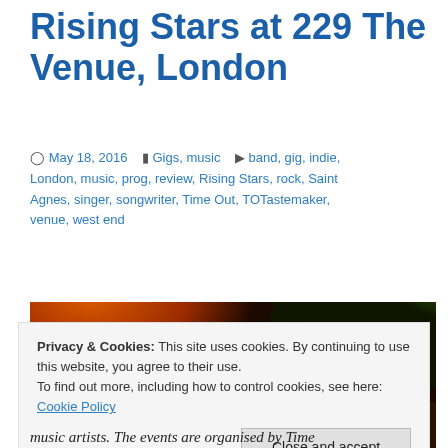Rising Stars at 229 The Venue, London
May 18, 2016   Gigs, music   band, gig, indie, London, music, prog, review, Rising Stars, rock, Saint Agnes, singer, songwriter, Time Out, TOTastemaker, venue, west end
[Figure (photo): Concert photo showing band performing on stage with red and green stage lighting, Time Out branding visible in background]
Privacy & Cookies: This site uses cookies. By continuing to use this website, you agree to their use.
To find out more, including how to control cookies, see here: Cookie Policy
Close and accept
music artists. The events are organised by Time